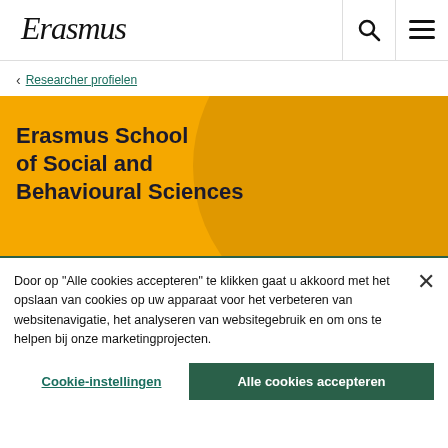[Figure (logo): Erasmus University Rotterdam logo in cursive script]
Researcher profielen
Erasmus School of Social and Behavioural Sciences
Door op "Alle cookies accepteren" te klikken gaat u akkoord met het opslaan van cookies op uw apparaat voor het verbeteren van websitenavigatie, het analyseren van websitegebruik en om ons te helpen bij onze marketingprojecten.
Cookie-instellingen   Alle cookies accepteren